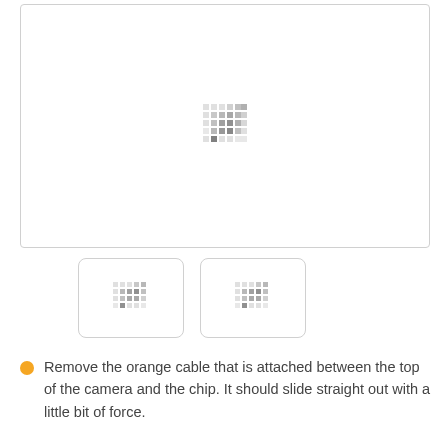[Figure (photo): Large rectangular placeholder image with a small pixel/mosaic pattern in the center, white background with light gray border]
[Figure (photo): Small square placeholder image, left of two, with pixel pattern, rounded corners]
[Figure (photo): Small square placeholder image, right of two, with pixel pattern, rounded corners]
Remove the orange cable that is attached between the top of the camera and the chip. It should slide straight out with a little bit of force.